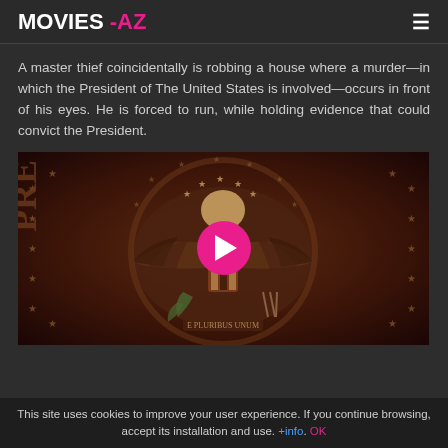MOVIES -AZ
A master thief coincidentally is robbing a house where a murder—in which the President of The United States is involved—occurs in front of his eyes. He is forced to run, while holding evidence that could convict the President.
[Figure (screenshot): Video thumbnail showing a close-up of the Presidential seal (eagle emblem) in dark bronze/gold tones with a pink play button overlay in the center.]
This site uses cookies to improve your user experience. If you continue browsing, accept its installation and use. +info. OK